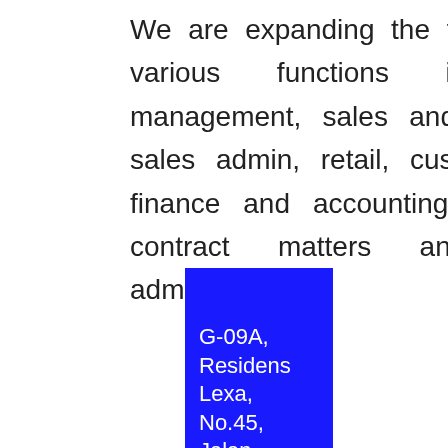We are expanding the team across various functions in project management, sales and marketing, sales admin, retail, customer care, finance and accounting, legal and contract matters and general administration.
G-09A, Residens Lexa, No.45, Jalan 34/26